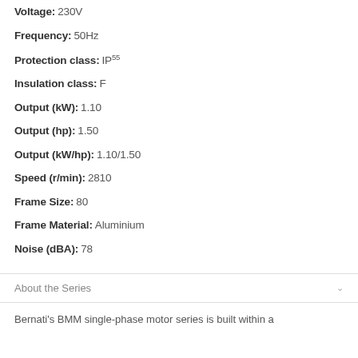Voltage: 230V
Frequency: 50Hz
Protection class: IP55
Insulation class: F
Output (kW): 1.10
Output (hp): 1.50
Output (kW/hp): 1.10/1.50
Speed (r/min): 2810
Frame Size: 80
Frame Material: Aluminium
Noise (dBA): 78
About the Series
Bernati's BMM single-phase motor series is built within a